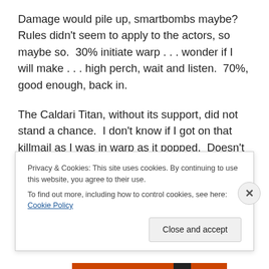Damage would pile up, smartbombs maybe?  Rules didn't seem to apply to the actors, so maybe so.  30% initiate warp . . . wonder if I will make . . . high perch, wait and listen.  70%, good enough, back in.
The Caldari Titan, without its support, did not stand a chance.  I don't know if I got on that killmail as I was in warp as it popped.  Doesn't matter, I was part of it.  Quotes like “I have been waiting two years to shoot her down in that Titan.”  Players who had followed the
Privacy & Cookies: This site uses cookies. By continuing to use this website, you agree to their use.
To find out more, including how to control cookies, see here: Cookie Policy